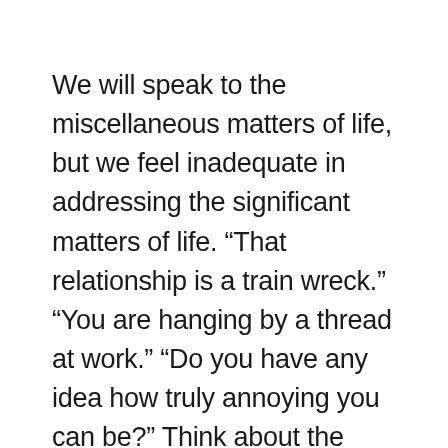We will speak to the miscellaneous matters of life, but we feel inadequate in addressing the significant matters of life. “That relationship is a train wreck.” “You are hanging by a thread at work.” “Do you have any idea how truly annoying you can be?” Think about the things that we say about our “friend” to our other friends. It’s not that we’re averse to spotting the issue or discussing it, we just don’t talk directly to them.